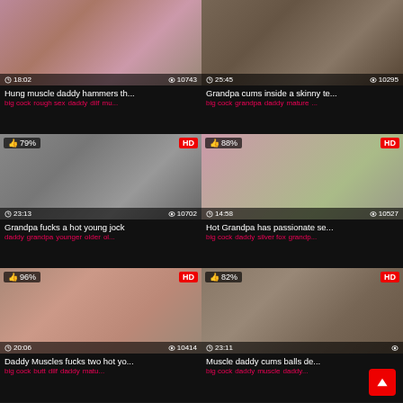[Figure (screenshot): Video thumbnail grid showing 6 adult video thumbnails in a 2x3 grid layout with titles, tags, duration, view counts, HD badges, and like percentages.]